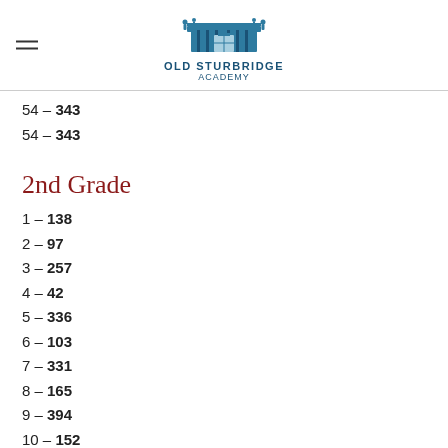Old Sturbridge Academy
54 - 343
54 - 343
2nd Grade
1 - 138
2 - 97
3 - 257
4 - 42
5 - 336
6 - 103
7 - 331
8 - 165
9 - 394
10 - 152
11 - 189